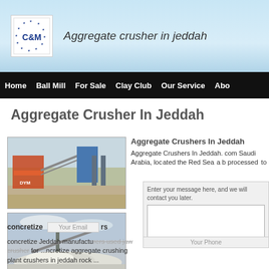Aggregate crusher in jeddah
Home | Ball Mill | For Sale | Clay Club | Our Service | Abo...
Aggregate Crusher In Jeddah
[Figure (photo): Industrial aggregate crushing machine at a quarry site with conveyor belts and machinery]
[Figure (photo): Aggregate crushing plant with crushed stone pile and conveyor]
Aggregate Crushers In Jeddah
Aggregate Crushers In Jeddah. com Saudi Arabia, located the Red Sea a b processed to
concretize rs
concretize Jeddah manufacturers used jaw crusher for ...ncretize aggregate crushing plant crushers in jeddah rock ...